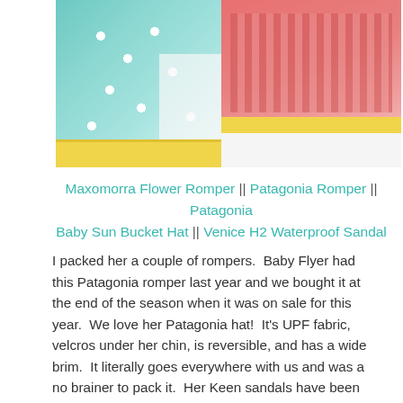[Figure (photo): Photo of children's clothing laid flat on a white surface: a teal/turquoise romper with daisy pattern and yellow hem on the left, and a pink/coral striped romper with yellow trim on the right.]
Maxomorra Flower Romper || Patagonia Romper || Patagonia Baby Sun Bucket Hat || Venice H2 Waterproof Sandal
I packed her a couple of rompers.  Baby Flyer had this Patagonia romper last year and we bought it at the end of the season when it was on sale for this year.  We love her Patagonia hat!  It's UPF fabric, velcros under her chin, is reversible, and has a wide brim.  It literally goes everywhere with us and was a no brainer to pack it.  Her Keen sandals have been working out well so far this summer.  We had a coupon for the Nordstrom Rack and found a pair in her size there, so we only had to pay $9